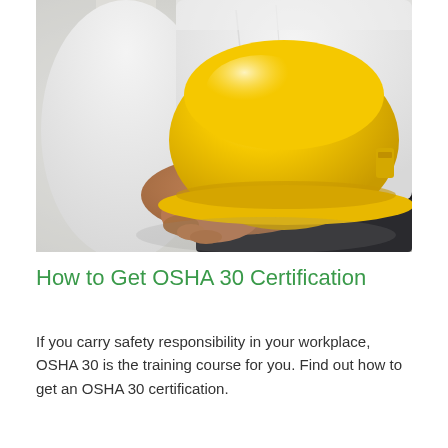[Figure (photo): A person in a white dress shirt holding a yellow hard hat/safety helmet against their torso, with a blurred light background. The image shows only the torso and hands of the person.]
How to Get OSHA 30 Certification
If you carry safety responsibility in your workplace, OSHA 30 is the training course for you. Find out how to get an OSHA 30 certification.